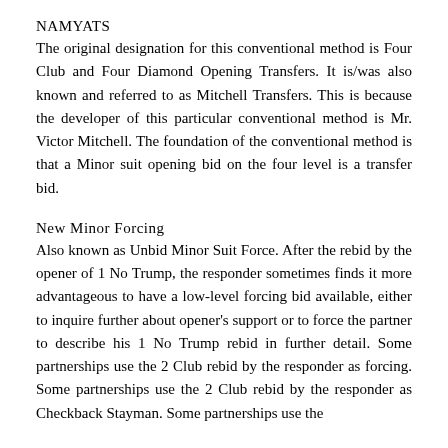NAMYATS
The original designation for this conventional method is Four Club and Four Diamond Opening Transfers. It is/was also known and referred to as Mitchell Transfers. This is because the developer of this particular conventional method is Mr. Victor Mitchell. The foundation of the conventional method is that a Minor suit opening bid on the four level is a transfer bid.
New Minor Forcing
Also known as Unbid Minor Suit Force. After the rebid by the opener of 1 No Trump, the responder sometimes finds it more advantageous to have a low-level forcing bid available, either to inquire further about opener’s support or to force the partner to describe his 1 No Trump rebid in further detail. Some partnerships use the 2 Club rebid by the responder as forcing. Some partnerships use the 2 Club rebid by the responder as Checkback Stayman. Some partnerships use the